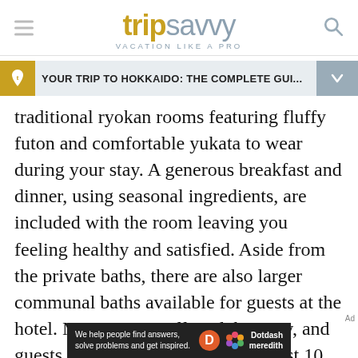tripsavvy VACATION LIKE A PRO
YOUR TRIP TO HOKKAIDO: THE COMPLETE GUI...
traditional ryokan rooms featuring fluffy futon and comfortable yukata to wear during your stay. A generous breakfast and dinner, using seasonal ingredients, are included with the room leaving you feeling healthy and satisfied. Aside from the private baths, there are also larger communal baths available for guests at the hotel. Many rooms offer a lake view, and guests can walk to Hell Valley in just 10 minutes. There’s also a bus stop in front of the hotel, making it very convenient for
[Figure (logo): Dotdash Meredith advertisement banner: 'We help people find answers, solve problems and get inspired.']